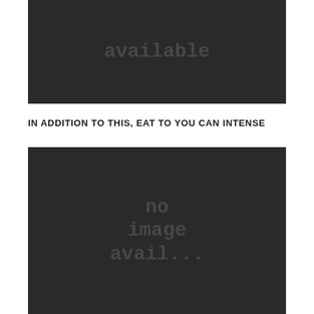[Figure (photo): Dark placeholder image with text 'available' shown in grey monospace font on dark background]
IN ADDITION TO THIS, EAT TO YOU CAN INTENSE
[Figure (photo): Dark placeholder image with text 'no image available' shown in grey monospace font on dark background]